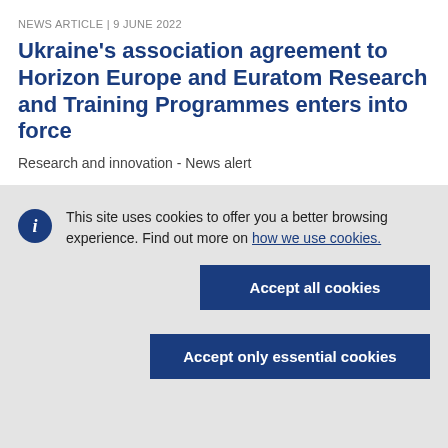NEWS ARTICLE | 9 JUNE 2022
Ukraine's association agreement to Horizon Europe and Euratom Research and Training Programmes enters into force
Research and innovation - News alert
This site uses cookies to offer you a better browsing experience. Find out more on how we use cookies.